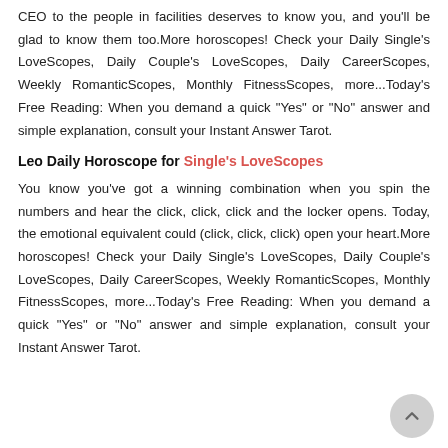CEO to the people in facilities deserves to know you, and you'll be glad to know them too.More horoscopes! Check your Daily Single's LoveScopes, Daily Couple's LoveScopes, Daily CareerScopes, Weekly RomanticScopes, Monthly FitnessScopes, more...Today's Free Reading: When you demand a quick "Yes" or "No" answer and simple explanation, consult your Instant Answer Tarot.
Leo Daily Horoscope for Single's LoveScopes
You know you've got a winning combination when you spin the numbers and hear the click, click, click and the locker opens. Today, the emotional equivalent could (click, click, click) open your heart.More horoscopes! Check your Daily Single's LoveScopes, Daily Couple's LoveScopes, Daily CareerScopes, Weekly RomanticScopes, Monthly FitnessScopes, more...Today's Free Reading: When you demand a quick "Yes" or "No" answer and simple explanation, consult your Instant Answer Tarot.